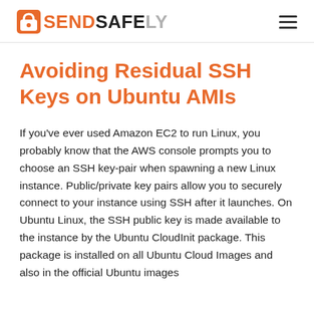SENDSAFELY
Avoiding Residual SSH Keys on Ubuntu AMIs
If you've ever used Amazon EC2 to run Linux, you probably know that the AWS console prompts you to choose an SSH key-pair when spawning a new Linux instance.  Public/private key pairs allow you to securely connect to your instance using SSH after it launches. On Ubuntu Linux, the SSH public key is made available to the instance by the Ubuntu CloudInit package.  This package is installed on all Ubuntu Cloud Images and also in the official Ubuntu images